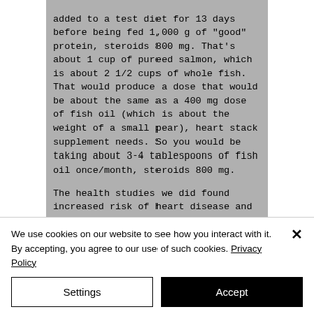added to a test diet for 13 days before being fed 1,000 g of "good" protein, steroids 800 mg. That's about 1 cup of pureed salmon, which is about 2 1/2 cups of whole fish. That would produce a dose that would be about the same as a 400 mg dose of fish oil (which is about the weight of a small pear), heart stack supplement needs. So you would be taking about 3-4 tablespoons of fish oil once/month, steroids 800 mg.

The health studies we did found increased risk of heart disease and inflammation in people taking fish oil supplements.
We use cookies on our website to see how you interact with it. By accepting, you agree to our use of such cookies. Privacy Policy